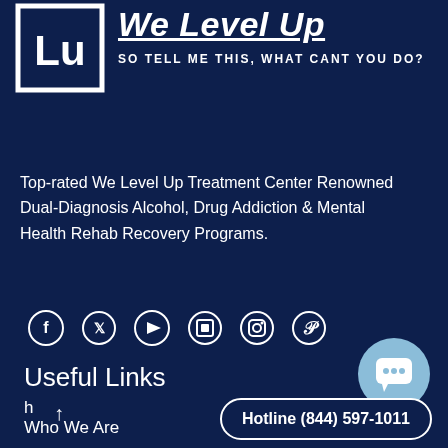[Figure (logo): We Level Up logo — white 'LU' letters in a bracket/square frame on dark navy background]
We Level Up
SO TELL ME THIS, WHAT CANT YOU DO?
Top-rated We Level Up Treatment Center Renowned Dual-Diagnosis Alcohol, Drug Addiction & Mental Health Rehab Recovery Programs.
[Figure (infographic): Social media icons in a row: Facebook, Twitter, YouTube, LinkedIn, Instagram, Pinterest]
Useful Links
h
Who We Are
Hotline (844) 597-1011